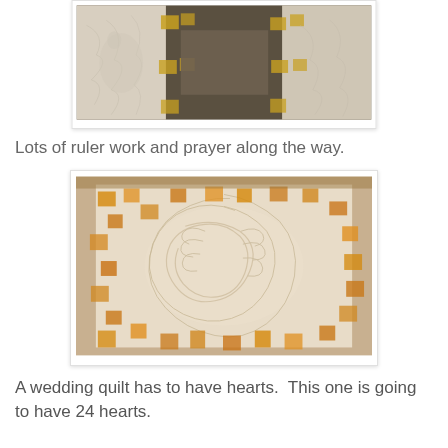[Figure (photo): Close-up photo of a quilt with yellow and white patchwork squares and quilted decorative stitching pattern, viewed from an angle.]
Lots of ruler work and prayer along the way.
[Figure (photo): Photo of a white and orange/yellow patchwork quilt with elaborate feather/swirl quilting design stitched into the white fabric, viewed from above at an angle.]
A wedding quilt has to have hearts.  This one is going to have 24 hearts.